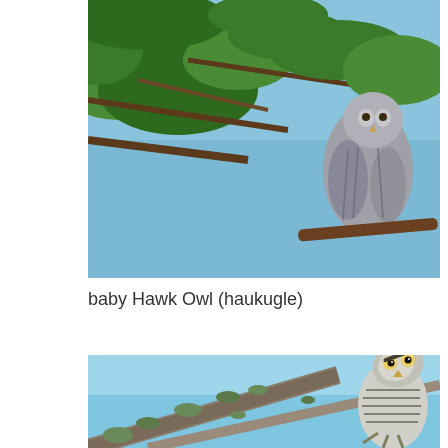[Figure (photo): Close-up photo of a baby Hawk Owl perched in a conifer tree with green pine needles and branches visible against blue sky. The owl chick has grey and white fluffy feathers.]
baby Hawk Owl (haukugle)
[Figure (photo): Photo of a juvenile Hawk Owl perched on a bare branch with lichens, against a bright blue sky. The owl faces slightly right with striking yellow eyes and barred white and grey plumage. Bare tree branches extend diagonally across the frame.]